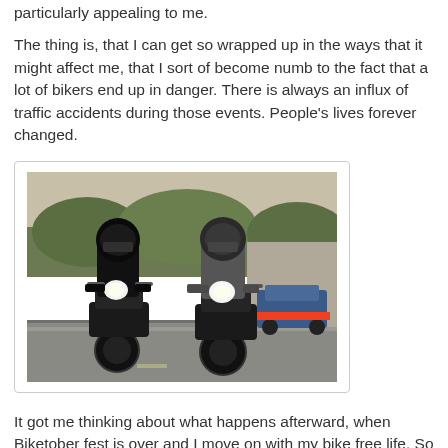particularly appealing to me.
The thing is, that I can get so wrapped up in the ways that it might affect me, that I sort of become numb to the fact that a lot of bikers end up in danger. There is always an influx of traffic accidents during those events. People's lives forever changed.
[Figure (photo): Two police officers riding motorcycles toward the camera on a city street, with flashing blue lights on the bikes. Trees and parked cars visible in the background.]
It got me thinking about what happens afterward, when Biketober fest is over and I move on with my bike free life. So I wanted to do a little research on accidents. What I realized is, that if you are in a motorcycle accident, it can be very important to have someone on your side. Legal